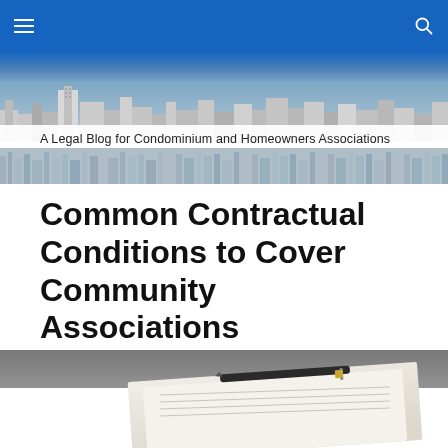Navigation bar with hamburger menu and search icon
[Figure (photo): City skyline banner image with blue gradient sky and buildings silhouette]
A Legal Blog for Condominium and Homeowners Associations
Common Contractual Conditions to Cover Community Associations
[Figure (photo): Photo of a pen resting on contract documents on a dark desk surface]